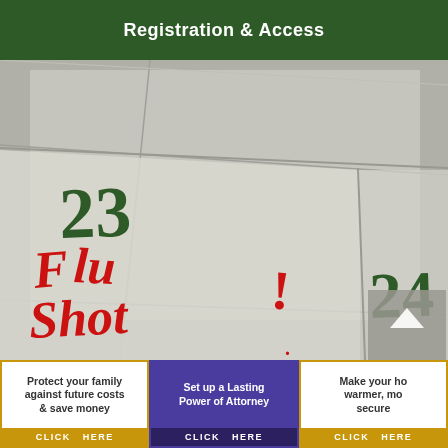Registration & Access
[Figure (illustration): Calendar page showing dates 23 and 24, with '23' written in dark green marker and 'FLU SHOT!' written in red handwriting below it. A navigation arrow button is visible in the lower right corner.]
[Figure (infographic): Advertisement banner: 'Protect your family against future costs & save money CLICK HERE' with gold border and gold click bar.]
[Figure (infographic): Advertisement banner: 'Set up a Lasting Power of Attorney CLICK HERE' with purple background and darker purple click bar.]
[Figure (infographic): Advertisement banner: 'Make your home warmer, more secure CLICK HERE' with gold border and gold click bar (partially cropped).]